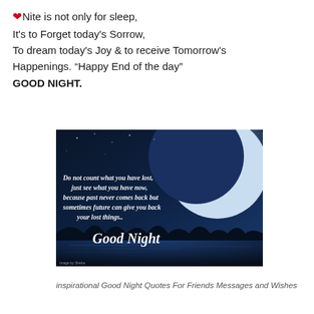❤ Nite is not only for sleep, It's to Forget today's Sorrow, To dream today's Joy & to receive Tomorrow's Happenings. "Happy End of the day" GOOD NIGHT.
[Figure (photo): Dark night sky with large crescent moon over a silhouetted treeline and reflective water. Text overlay reads: 'Do not count what you have lost, just see what you have now, because past never comes back but sometimes future can give you back your lost things..' and 'Good Night' in script font.]
inspirational Good Night Quotes For Friends Messages and Wishes